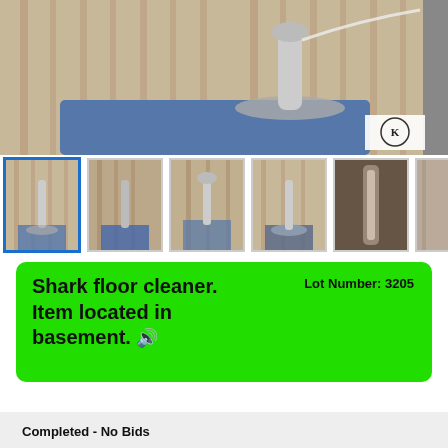[Figure (photo): Main product photo of a Shark floor cleaner, showing the device standing up against a wood-paneled wall, with a watermark logo in top right corner]
[Figure (photo): Row of 6 thumbnail photos of the Shark floor cleaner from various angles; first thumbnail is highlighted with blue border]
Lot Number: 3205
Shark floor cleaner. Item located in basement.
Completed - No Bids
Start Time: 6/22/2022 12:00:00 PM
End Time: 6/30/2022 12:09:20 AM
Current Bid: $5.00
Bid Count: 0